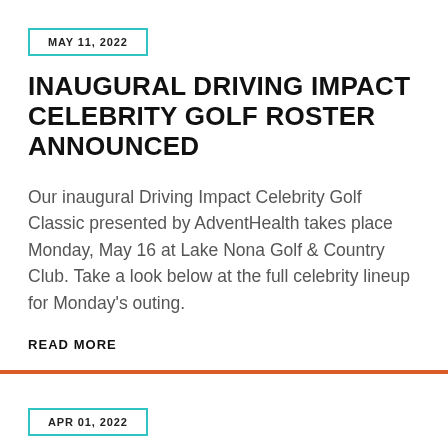MAY 11, 2022
INAUGURAL DRIVING IMPACT CELEBRITY GOLF ROSTER ANNOUNCED
Our inaugural Driving Impact Celebrity Golf Classic presented by AdventHealth takes place Monday, May 16 at Lake Nona Golf & Country Club. Take a look below at the full celebrity lineup for Monday's outing.
READ MORE
APR 01, 2022